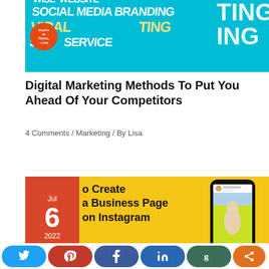[Figure (photo): Digital marketing themed banner image with teal background showing marketing-related words like WEBSITE, SOCIAL MEDIA, BRANDING, VIRAL, SEO, SERVICE in 3D perspective typography, with a megaphone and camera icons, and a small orange circular badge reading 'Inspire to Thrive']
Digital Marketing Methods To Put You Ahead Of Your Competitors
4 Comments / Marketing / By Lisa
[Figure (photo): Yellow background image showing a phone held in hand displaying an Instagram-style fashion model profile. Left side has red date badge showing Jul 6 2022. Text overlay reads 'o Create a Business Page on Instagram']